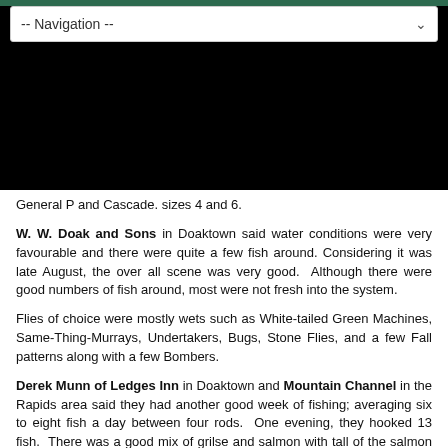[Figure (screenshot): Navigation dropdown bar with '-- Navigation --' label and dropdown arrow, on a black background]
General P and Cascade. sizes 4 and 6.
W. W. Doak and Sons in Doaktown said water conditions were very favourable and there were quite a few fish around. Considering it was late August, the over all scene was very good. Although there were good numbers of fish around, most were not fresh into the system.
Flies of choice were mostly wets such as White-tailed Green Machines, Same-Thing-Murrays, Undertakers, Bugs, Stone Flies, and a few Fall patterns along with a few Bombers.
Derek Munn of Ledges Inn in Doaktown and Mountain Channel in the Rapids area said they had another good week of fishing; averaging six to eight fish a day between four rods. One evening, they hooked 13 fish. There was a good mix of grilse and salmon with tall of the salmon between 12 to 16 pounds. There were a few fresh fish in the mix.